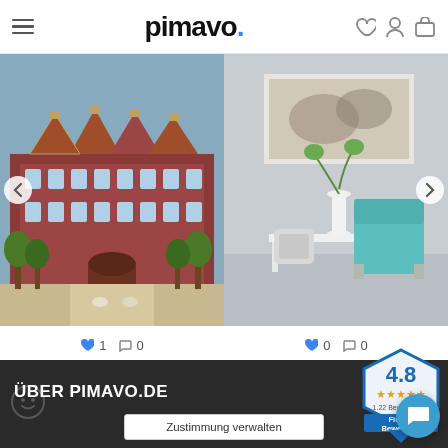pimavo. (logo with navigation icons)
[Figure (photo): Left: photo of a historic red-brick building with baroque gabled rooflines, courtyard with trees and horses. Right: interior photo showing a white console table with a teal/turquoise chair and decorative pillow, wall art above.]
♥ 1  💬 0
♥ 0  💬 0
[Figure (infographic): Carousel dot indicators — 9 dots, first one dark/active, rest grey]
[Figure (infographic): Rating badge showing 4.8 stars, 1.22 Bewertungen, Firmen Bewertung in blue hexagon shape]
Folgen Sie auf Instagram
ÜBER PIMAVO.DE
Zustimmung verwalten